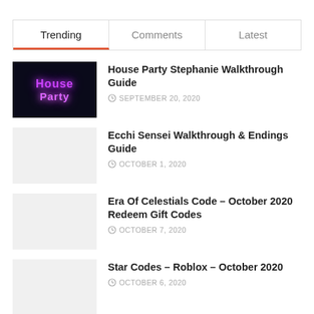Trending | Comments | Latest
House Party Stephanie Walkthrough Guide — SEPTEMBER 20, 2020
Ecchi Sensei Walkthrough & Endings Guide — OCTOBER 1, 2020
Era Of Celestials Code – October 2020 Redeem Gift Codes — OCTOBER 7, 2020
Star Codes – Roblox – October 2020 — OCTOBER 6, 2020
Recommended